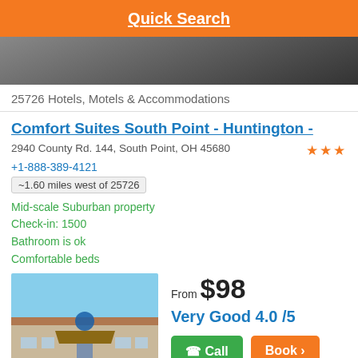Quick Search
25726 Hotels, Motels & Accommodations
Comfort Suites South Point - Huntington -
2940 County Rd. 144, South Point, OH 45680
+1-888-389-4121
~1.60 miles west of 25726
Mid-scale Suburban property
Check-in: 1500
Bathroom is ok
Comfortable beds
[Figure (photo): Hotel building exterior photo]
From $98
Very Good 4.0 /5
Tired of clicking around?